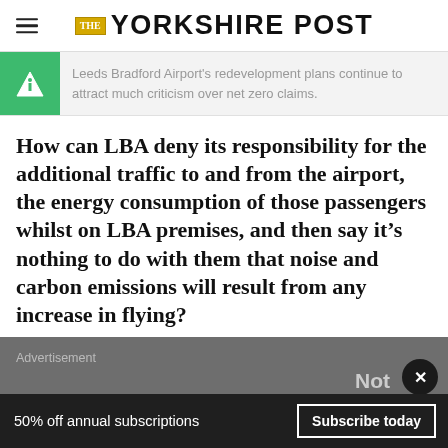THE YORKSHIRE POST
Leeds Bradford Airport's redevelopment plans continue to attract much criticism over net zero claims.
How can LBA deny its responsibility for the additional traffic to and from the airport, the energy consumption of those passengers whilst on LBA premises, and then say it's nothing to do with them that noise and carbon emissions will result from any increase in flying?
Advertisement
50% off annual subscriptions  Subscribe today